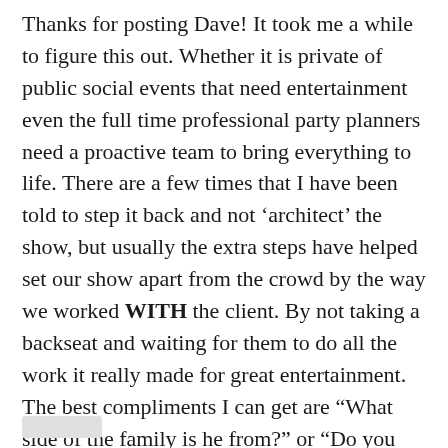Thanks for posting Dave! It took me a while to figure this out. Whether it is private of public social events that need entertainment even the full time professional party planners need a proactive team to bring everything to life. There are a few times that I have been told to step it back and not ‘architect’ the show, but usually the extra steps have helped set our show apart from the crowd by the way we worked WITH the client. By not taking a backseat and waiting for them to do all the work it really made for great entertainment. The best compliments I can get are “What side of the family is he from?” or “Do you know Sam from High School or College?”